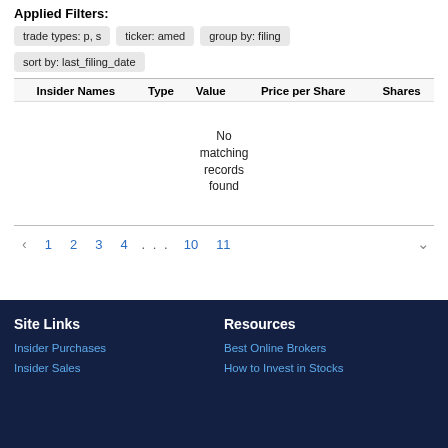Applied Filters:
trade types: p, s
ticker: amed
group by: filing
sort by: last_filing_date
| Insider Names | Type | Value | Price per Share | Shares |
| --- | --- | --- | --- | --- |
| No matching records found |  |  |  |  |
< 1 2 3 4 ... 10 11
Site Links
Resources
Insider Purchases
Best Online Brokers
Insider Sales
How to Invest in Stocks